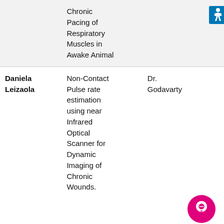| Student | Project | Advisor |  |
| --- | --- | --- | --- |
|  | Chronic Pacing of Respiratory Muscles in Awake Animal |  | accessibility icon |
| Daniela Leizaola | Non-Contact Pulse rate estimation using near Infrared Optical Scanner for Dynamic Imaging of Chronic Wounds. | Dr. Godavarty |  |